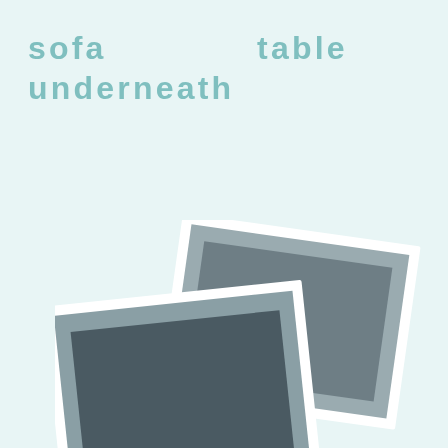sofa table with stools underneath
[Figure (photo): Two overlapping blurry photographs showing a sofa table with stools underneath, rendered in grayscale tones with white borders, one tilted slightly, against a light teal/mint background.]